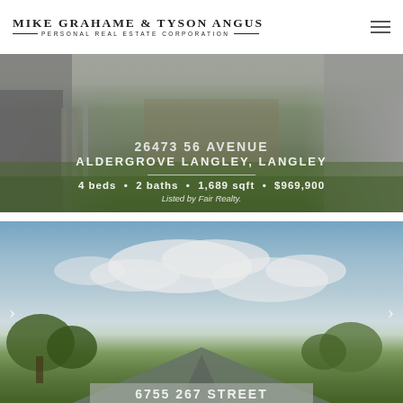MIKE GRAHAME & TYSON ANGUS — PERSONAL REAL ESTATE CORPORATION
[Figure (photo): Property photo of a house with fence and yard, with overlay text showing address and listing details. Address: 26473 56 AVENUE, Aldergrove Langley, Langley. 4 beds • 2 baths • 1,689 sqft • $969,900. Listed by Fair Realty.]
[Figure (photo): Property exterior photo showing a house with green metal roof against a blue sky with clouds and trees. Address text partially visible: 6755 267 STREET. Navigation arrows on left and right sides.]